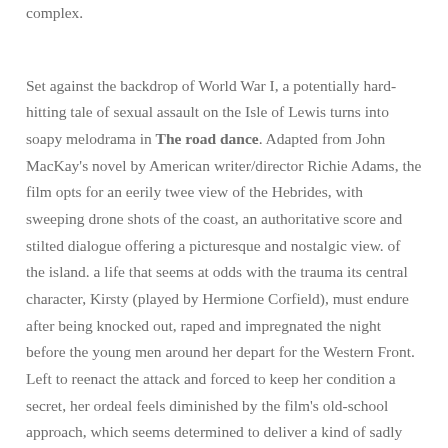complex.
Set against the backdrop of World War I, a potentially hard-hitting tale of sexual assault on the Isle of Lewis turns into soapy melodrama in The road dance. Adapted from John MacKay's novel by American writer/director Richie Adams, the film opts for an eerily twee view of the Hebrides, with sweeping drone shots of the coast, an authoritative score and stilted dialogue offering a picturesque and nostalgic view. of the island. a life that seems at odds with the trauma its central character, Kirsty (played by Hermione Corfield), must endure after being knocked out, raped and impregnated the night before the young men around her depart for the Western Front. Left to reenact the attack and forced to keep her condition a secret, her ordeal feels diminished by the film's old-school approach, which seems determined to deliver a kind of sadly rendered mystery filled with red herrings and a false happy ending. Morven Christie and Mark Gatiss co-star.